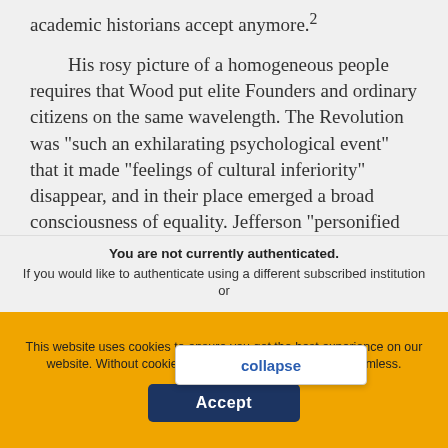academic historians accept anymore.²
His rosy picture of a homogeneous people requires that Wood put elite Founders and ordinary citizens on the same wavelength. The Revolution was "such an exhilarating psychological event" that it made "feelings of cultural inferiority" disappear, and in their place emerged a broad consciousness of equality. Jefferson "personified this revolutionary transformation," [End Page 262] insists Wood. "His ideas about liberty and democracy left an imprint on the
You are not currently authenticated.
If you would like to authenticate using a different subscribed institution or
This website uses cookies to ensure you get the best experience on our website. Without cookies your experience may not be seamless.
Accept